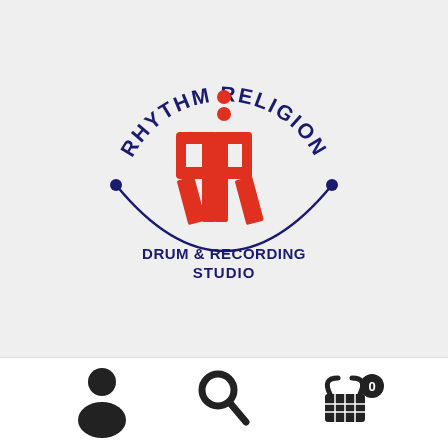[Figure (logo): Rhythm Religion Drum & Recording Studio circular logo. Features two mirrored red R letters in the center, dark navy blue circular arc text reading RHYTHM RELIGION at the top, DRUM & RECORDING STUDIO text at the bottom, and two drumstick dots on either side of the arc, with red dots above the RR monogram.]
[Figure (infographic): Bottom navigation bar with three icons: a person/user silhouette icon on the left, a search/magnifying glass icon in the center, and a shopping basket/cart icon with badge showing 0 on the right.]